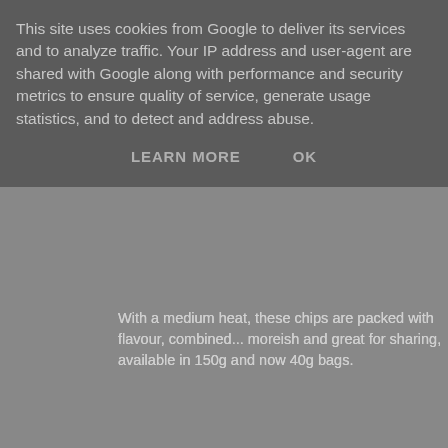This site uses cookies from Google to deliver its services and to analyze traffic. Your IP address and user-agent are shared with Google along with performance and security metrics to ensure quality of service, generate usage statistics, and to detect and address abuse.
LEARN MORE   OK
With a medium heat, these chips are packed with flavour, combined... moreish and great for sharing, available in 150g and now 40g bags.
For me personally the medium had just the right level of spiciness w... water tap dry.
The first crisp we tried were the Peri- peri chicken groove cut these a... are gluten free, and I know it is hard to fin great tasting snacks if you...
On the other hand I couldn't handle the hotness of the Hot peri- peri... anything loved them and even my son who doesn't ever like spicy f...